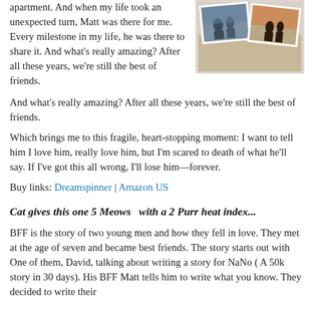apartment. And when my life took an unexpected turn, Matt was there for me. Every milestone in my life, he was there to share it. And what's really amazing? After all these years, we're still the best of friends.
[Figure (photo): Photographs of people arranged on a sandy surface, overlapping each other, including images of couples and people silhouetted against a sunset.]
Which brings me to this fragile, heart-stopping moment: I want to tell him I love him, really love him, but I'm scared to death of what he'll say. If I've got this all wrong, I'll lose him—forever.
Buy links: Dreamspinner | Amazon US
Cat gives this one 5 Meows  with a 2 Purr heat index...
BFF is the story of two young men and how they fell in love. They met at the age of seven and became best friends. The story starts out with One of them, David, talking about writing a story for NaNo ( A 50k story in 30 days). His BFF Matt tells him to write what you know. They decided to write their